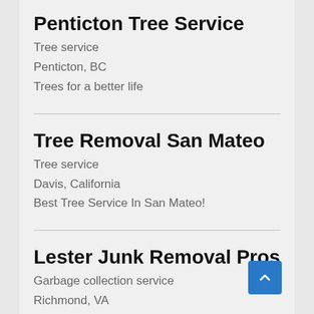Penticton Tree Service
Tree service
Penticton, BC
Trees for a better life
Tree Removal San Mateo
Tree service
Davis, California
Best Tree Service In San Mateo!
Lester Junk Removal Pros
Garbage collection service
Richmond, VA
Lester Junk Removal Pros